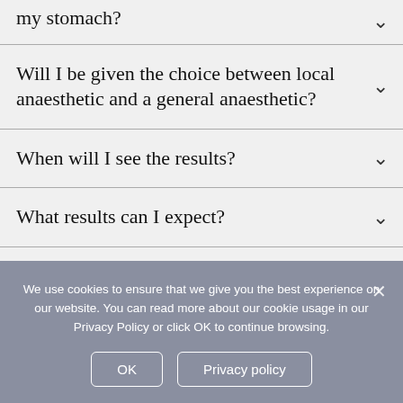my stomach?
Will I be given the choice between local anaesthetic and a general anaesthetic?
When will I see the results?
What results can I expect?
We use cookies to ensure that we give you the best experience on our website. You can read more about our cookie usage in our Privacy Policy or click OK to continue browsing.